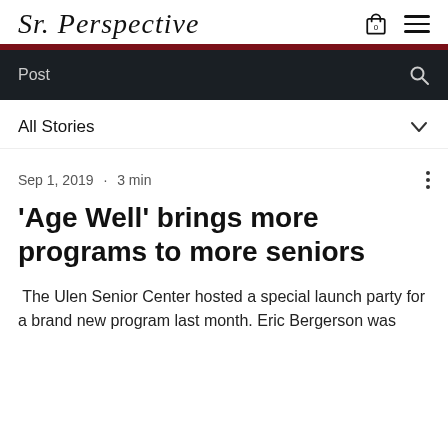Sr. Perspective
Post
All Stories
Sep 1, 2019 · 3 min
'Age Well' brings more programs to more seniors
The Ulen Senior Center hosted a special launch party for a brand new program last month. Eric Bergerson was